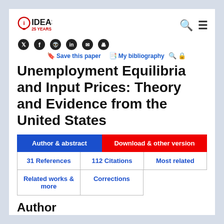[Figure (logo): IDEAS 25 YEARS logo with lightbulb icon in red and blue]
Save this paper   My bibliography
Unemployment Equilibria and Input Prices: Theory and Evidence from the United States
Author & abstract
Download & other version
31 References
112 Citations
Most related
Related works & more
Corrections
Author